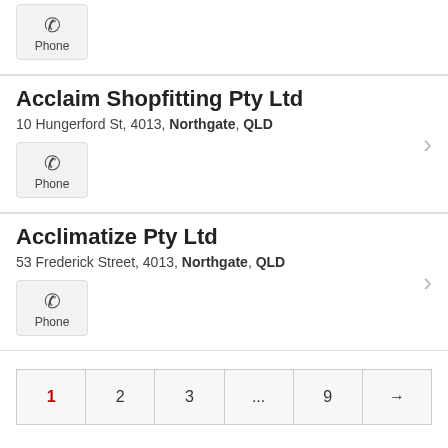Phone
Acclaim Shopfitting Pty Ltd
10 Hungerford St, 4013, Northgate, QLD
Phone
Acclimatize Pty Ltd
53 Frederick Street, 4013, Northgate, QLD
Phone
1  2  3  ...  9  →